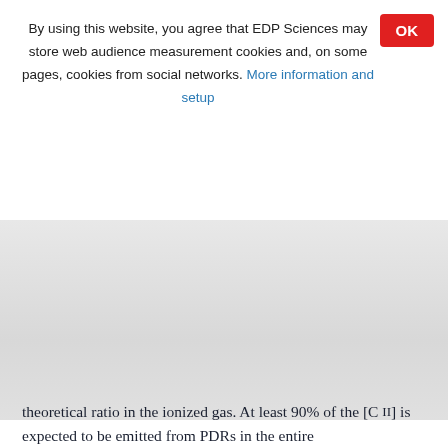By using this website, you agree that EDP Sciences may store web audience measurement cookies and, on some pages, cookies from social networks. More information and setup
OK
theoretical ratio in the ionized gas. At least 90% of the [C II] is expected to be emitted from PDRs in the entire